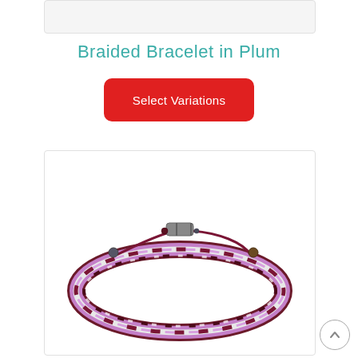[Figure (photo): Top partial image box (cropped product image, top portion only visible)]
Braided Bracelet in Plum
[Figure (other): Red rounded rectangle button labeled 'Select Variations']
[Figure (photo): Photo of a braided bracelet in plum/purple and silver colors with an adjustable sliding clasp, shown on white background]